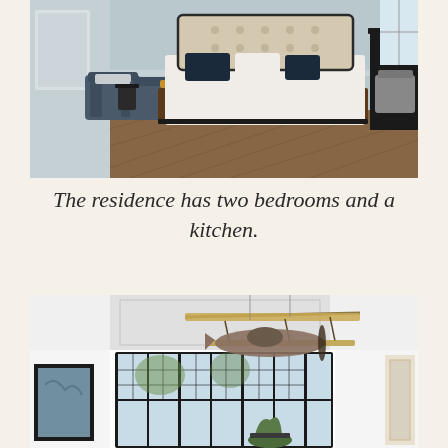[Figure (photo): Hotel bedroom interior with a large bed featuring a tufted headboard, dark wood floor, two navy blue armchairs, and a desk with chair near window. Light and airy atmosphere.]
The residence has two bedrooms and a kitchen.
[Figure (photo): Interior room with a vintage biplane model suspended from the ceiling, large black-framed windows, white walls, and decorative plants below.]